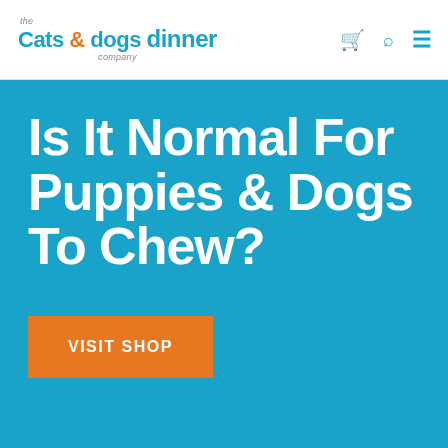the Cats & dogs dinner company
Is It Normal For Puppies & Dogs To Chew?
VISIT SHOP